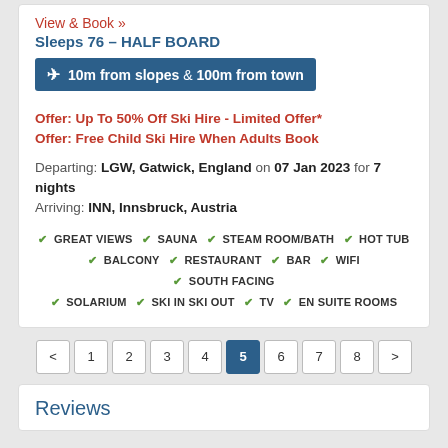View & Book »
Sleeps 76 – HALF BOARD
10m from slopes & 100m from town
Offer: Up To 50% Off Ski Hire - Limited Offer*
Offer: Free Child Ski Hire When Adults Book
Departing: LGW, Gatwick, England on 07 Jan 2023 for 7 nights
Arriving: INN, Innsbruck, Austria
GREAT VIEWS  SAUNA  STEAM ROOM/BATH  HOT TUB  BALCONY  RESTAURANT  BAR  WIFI  SOUTH FACING  SOLARIUM  SKI IN SKI OUT  TV  EN SUITE ROOMS
< 1 2 3 4 5 6 7 8 >
Reviews